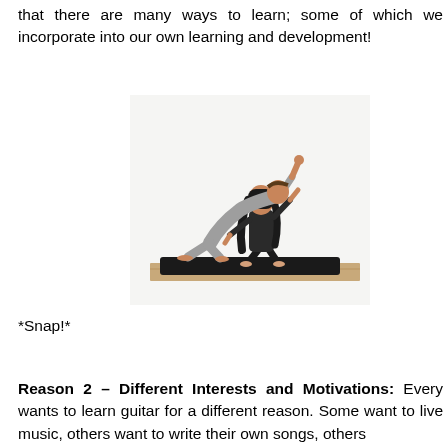that there are many ways to learn; some of which we incorporate into our own learning and development!
[Figure (photo): Two people practicing yoga together on a black mat. One person (instructor, woman with long dark hair, wearing dark clothes) stands and assists the other person (man in grey clothing) who is in a side-stretching pose with one arm raised.]
*Snap!*
Reason 2 – Different Interests and Motivations: Every wants to learn guitar for a different reason. Some want to live music, others want to write their own songs, others